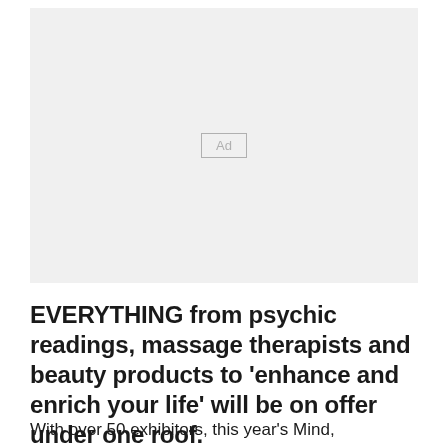[Figure (other): Advertisement placeholder box with 'Ad' label in center]
EVERYTHING from psychic readings, massage therapists and beauty products to 'enhance and enrich your life' will be on offer under one roof.
With over 50 exhibitors, this year's Mind,